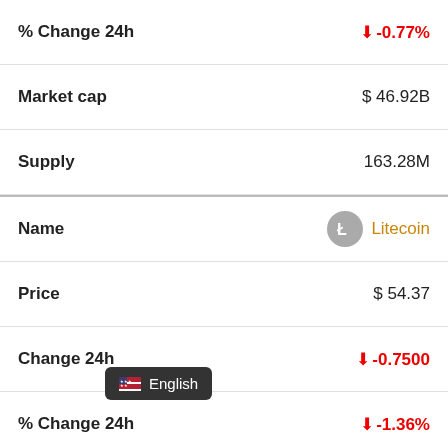| Field | Value |
| --- | --- |
| % Change 24h | ↓ -0.77% |
| Market cap | $ 46.92B |
| Supply | 163.28M |
| Name | Litecoin |
| Price | $ 54.37 |
| Change 24h | ↓ -0.7500 |
| % Change 24h | ↓ -1.36% |
| Market cap | $ 3.86B |
| Supply | 71.06M |
| Name | Dash |
| Price | $ 45.46 |